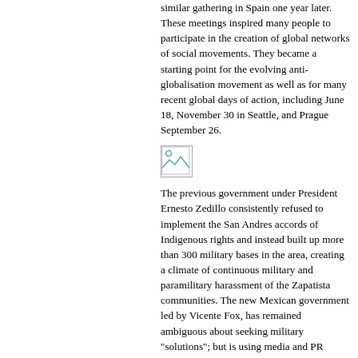similar gathering in Spain one year later. These meetings inspired many people to participate in the creation of global networks of social movements. They became a starting point for the evolving anti-globalisation movement as well as for many recent global days of action, including June 18, November 30 in Seattle, and Prague September 26.
[Figure (illustration): Small broken/placeholder image icon]
The previous government under President Ernesto Zedillo consistently refused to implement the San Andres accords of Indigenous rights and instead built up more than 300 military bases in the area, creating a climate of continuous military and paramilitary harassment of the Zapatista communities. The new Mexican government led by Vicente Fox, has remained ambiguous about seeking military "solutions"; but is using media and PR tactics to discredit the Zapatistas. In this historical context,